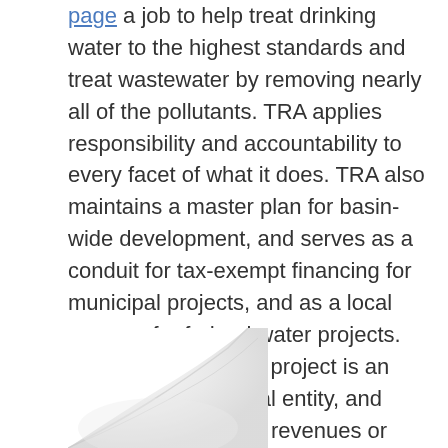page a job to help treat drinking water to the highest standards and treat wastewater by removing nearly all of the pollutants. TRA applies responsibility and accountability to every facet of what it does. TRA also maintains a master plan for basin-wide development, and serves as a conduit for tax-exempt financing for municipal projects, and as a local sponsor for federal water projects. Each TRA operating project is an independent financial entity, and TRA receives no tax revenues or appropriations.
[Figure (photo): Bottom-left corner of a white curved or folded paper surface, showing a partial decorative or illustrative image with soft gray tones.]